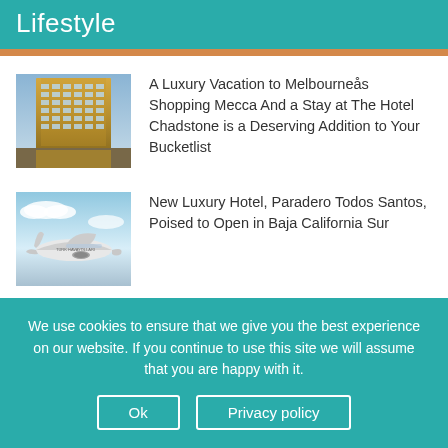Lifestyle
[Figure (photo): Hotel building exterior with golden facade]
A Luxury Vacation to Melbourneås Shopping Mecca And a Stay at The Hotel Chadstone is a Deserving Addition to Your Bucketlist
[Figure (photo): Airplane flying through sky with clouds]
New Luxury Hotel, Paradero Todos Santos, Poised to Open in Baja California Sur
We use cookies to ensure that we give you the best experience on our website. If you continue to use this site we will assume that you are happy with it.
Ok
Privacy policy